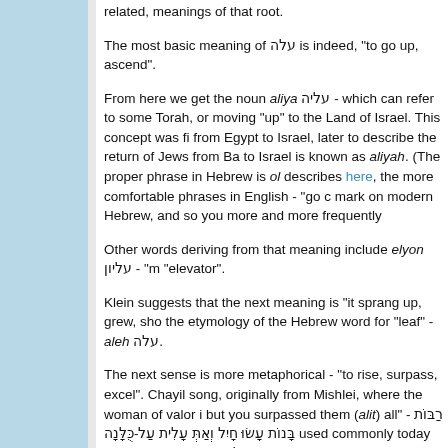related, meanings of that root.
The most basic meaning of עלה is indeed, "to go up, ascend".
From here we get the noun aliya עליה - which can refer to some Torah, or moving "up" to the Land of Israel. This concept was fi from Egypt to Israel, later to describe the return of Jews from Ba to Israel is known as aliyah. (The proper phrase in Hebrew is ol describes here, the more comfortable phrases in English - "go c mark on modern Hebrew, and so you more and more frequently
Other words deriving from that meaning include elyon עליון - "m "elevator".
Klein suggests that the next meaning is "it sprang up, grew, sho the etymology of the Hebrew word for "leaf" - aleh עלה.
The next sense is more metaphorical - "to rise, surpass, excel". Chayil song, originally from Mishlei, where the woman of valor i but you surpassed them (alit) all" - רַבּוֹת בָּנוֹת עָשׂוּ חָיִל וְאַתְּ עָלִית עַל-כֻּלָּנָה used commonly today in the word me'uleh מעולה - "excellent".
And from here we finally get to the answer to the question. In pe meaning - "was reckoned, counted in, considered." This is a de since something that excelled would be counted in and conside